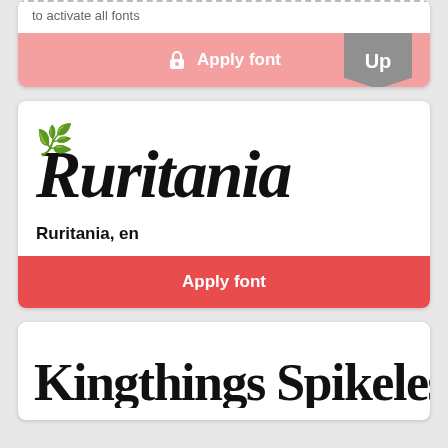to activate all fonts
[Figure (screenshot): Apply font button with lock icon, pink/salmon background, and 'Up' badge]
[Figure (illustration): Ruritania decorative blackletter font preview logo]
Ruritania, en
[Figure (screenshot): Apply font red button]
[Figure (illustration): Kingthings Spikeless decorative blackletter font preview text]